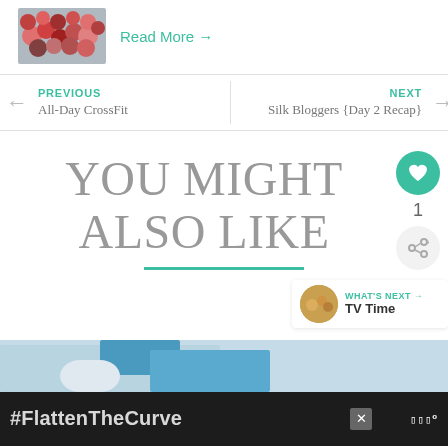[Figure (photo): Thumbnail image of a crowd of people at what appears to be a sports/fitness event]
Read More →
← PREVIOUS
All-Day CrossFit
NEXT →
Silk Bloggers {Day 2 Recap}
YOU MIGHT ALSO LIKE
[Figure (illustration): Teal horizontal underline bar beneath 'YOU MIGHT ALSO LIKE' heading]
[Figure (infographic): Side action buttons: teal heart button, count '1', share button with plus icon]
WHAT'S NEXT → TV Time
[Figure (photo): Preview image at bottom showing person at sink, partially visible]
#FlattenTheCurve